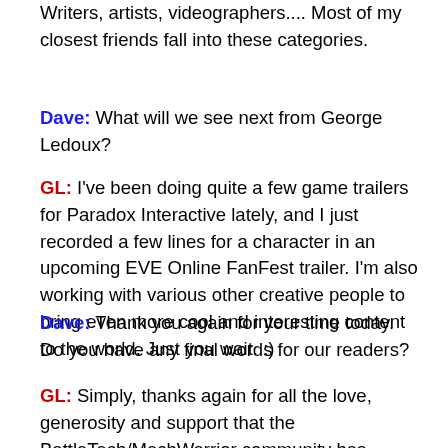Writers, artists, videographers.... Most of my closest friends fall into these categories.
Dave: What will we see next from George Ledoux?
GL: I've been doing quite a few game trailers for Paradox Interactive lately, and I just recorded a few lines for a character in an upcoming EVE Online FanFest trailer. I'm also working with various other creative people to bring even more cool and interesting content to the world. Just you wait. :)
Dave: Thank you again for your time today. Do you have any final words for our readers?
GL: Simply, thanks again for all the love, generosity and support that the BattleTech/MechWarrior community has shown me through the years. Your enthusiasm and interest in my work has meant the world to me, and, with